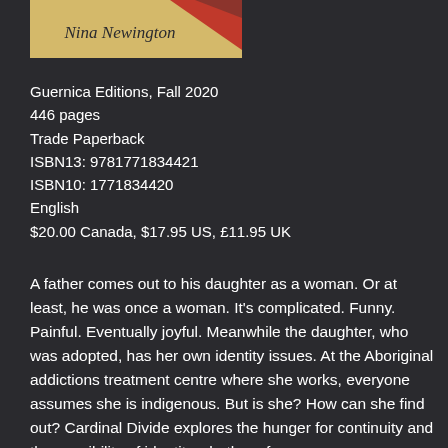[Figure (illustration): Book cover thumbnail showing tan/gold background with red diagonal element and author name 'Nina Newington' in dark italic text]
Guernica Editions, Fall 2020
446 pages
Trade Paperback
ISBN13: 9781771834421
ISBN10: 1771834420
English
$20.00 Canada, $17.95 US, £11.95 UK
A father comes out to his daughter as a woman. Or at least, he was once a woman. It's complicated. Funny. Painful. Eventually joyful. Meanwhile the daughter, who was adopted, has her own identity issues. At the Aboriginal addictions treatment centre where she works, everyone assumes she is indigenous. But is she? How can she find out? Cardinal Divide explores the hunger for continuity and the possibility of identity whether of...